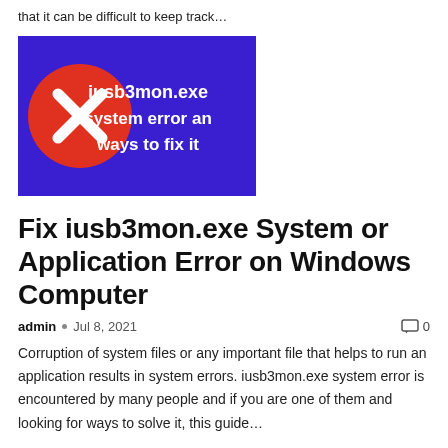that it can be difficult to keep track…
[Figure (illustration): Blue background banner image with a red circle containing a white X on the left, and white bold text reading 'iusb3mon.exe system error and ways to fix it' on the right (partially cropped).]
Fix iusb3mon.exe System or Application Error on Windows Computer
admin  •  Jul 8, 2021    💬 0
Corruption of system files or any important file that helps to run an application results in system errors. iusb3mon.exe system error is encountered by many people and if you are one of them and looking for ways to solve it, this guide…